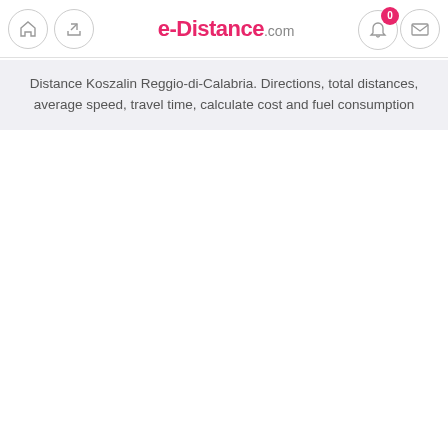e-Distance.com
Distance Koszalin Reggio-di-Calabria. Directions, total distances, average speed, travel time, calculate cost and fuel consumption